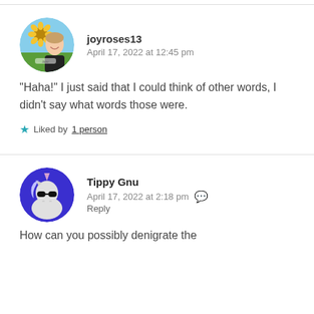[Figure (illustration): Avatar photo of joyroses13 — woman with sunflowers, circular crop]
joyroses13
April 17, 2022 at 12:45 pm
“Haha!” I just said that I could think of other words, I didn't say what words those were.
Liked by 1person
[Figure (illustration): Avatar illustration of Tippy Gnu — unicorn with sunglasses on blue background, circular crop]
Tippy Gnu
April 17, 2022 at 2:18 pm
Reply
How can you possibly denigrate the